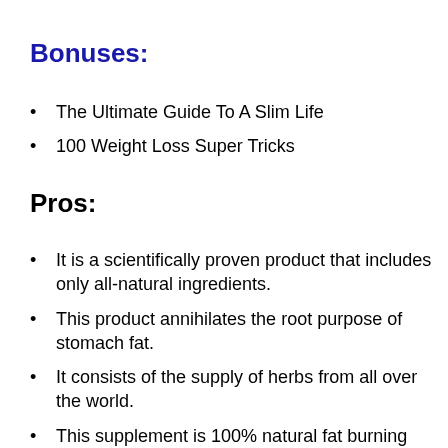Bonuses:
The Ultimate Guide To A Slim Life
100 Weight Loss Super Tricks
Pros:
It is a scientifically proven product that includes only all-natural ingredients.
This product annihilates the root purpose of stomach fat.
It consists of the supply of herbs from all over the world.
This supplement is 100% natural fat burning extract.
It helps to reduce 1 lb of your stored fat...